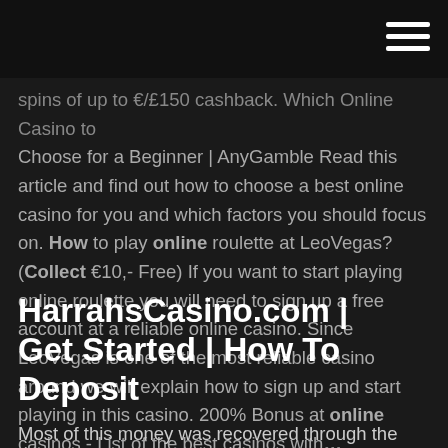spins of up to €/£150 cashback. Which Online Casino to Choose for a Beginner | AnyGamble Read this article and find out how to choose a best online casino for you and which factors you should focus on. How to play online roulette at LeoVegas? (Collect €10,- Free) If you want to start playing online roulette you will need to sign up a free account at a reliable online casino. Since LeoVegas is one of the most reliable casino around we will explain how to sign up and start playing in this casino. 200% Bonus at online casinos - List of the best casinos with…
HarrahsCasino.com | Get Started | How To Deposit
Most of this money was recovered through the normal